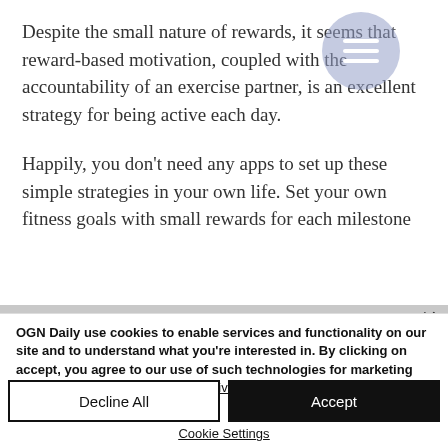Despite the small nature of rewards, it seems that reward-based motivation, coupled with the accountability of an exercise partner, is an excellent strategy for being active each day.
Happily, you don't need any apps to set up these simple strategies in your own life. Set your own fitness goals with small rewards for each milestone
[Figure (other): Hamburger menu icon inside a light blue-grey circle, overlapping the article text in the top-right area]
OGN Daily use cookies to enable services and functionality on our site and to understand what you're interested in. By clicking on accept, you agree to our use of such technologies for marketing and analytics. Thank you! See Privacy Policy
Decline All
Accept
Cookie Settings